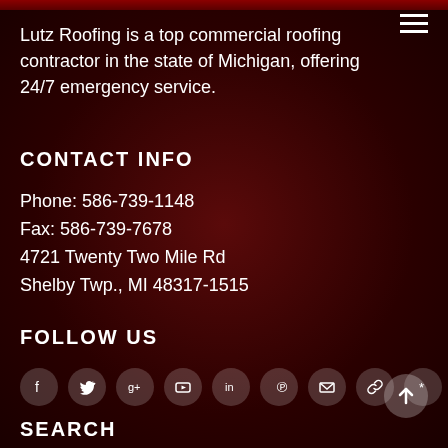Lutz Roofing is a top commercial roofing contractor in the state of Michigan, offering 24/7 emergency service.
CONTACT INFO
Phone: 586-739-1148
Fax: 586-739-7678
4721 Twenty Two Mile Rd
Shelby Twp., MI 48317-1515
FOLLOW US
[Figure (infographic): Row of 9 social media icon circles: Facebook, Twitter, Google+, YouTube, LinkedIn, Pinterest, Email, Link, Yelp]
SEARCH